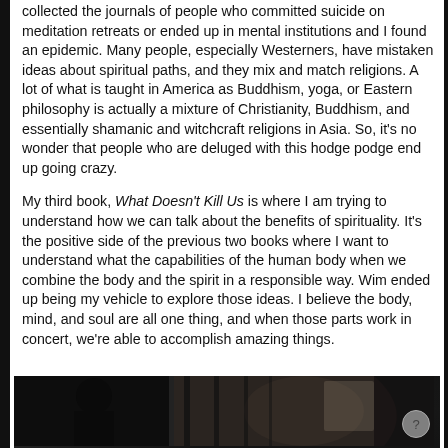collected the journals of people who committed suicide on meditation retreats or ended up in mental institutions and I found an epidemic. Many people, especially Westerners, have mistaken ideas about spiritual paths, and they mix and match religions. A lot of what is taught in America as Buddhism, yoga, or Eastern philosophy is actually a mixture of Christianity, Buddhism, and essentially shamanic and witchcraft religions in Asia. So, it's no wonder that people who are deluged with this hodge podge end up going crazy.
My third book, What Doesn't Kill Us is where I am trying to understand how we can talk about the benefits of spirituality. It's the positive side of the previous two books where I want to understand what the capabilities of the human body when we combine the body and the spirit in a responsible way. Wim ended up being my vehicle to explore those ideas. I believe the body, mind, and soul are all one thing, and when those parts work in concert, we're able to accomplish amazing things.
[Figure (photo): Dark photograph at the bottom of the page showing shadowy figures, partially visible. A small circular help/info button is visible in the bottom right corner.]